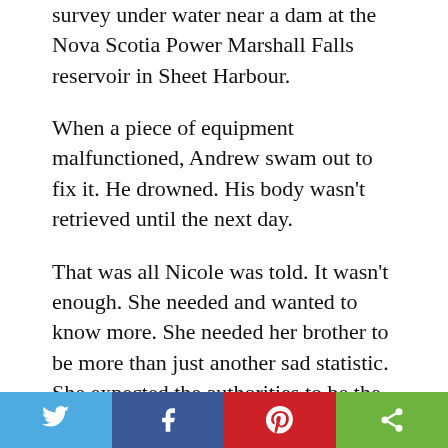survey under water near a dam at the Nova Scotia Power Marshall Falls reservoir in Sheet Harbour.
When a piece of equipment malfunctioned, Andrew swam out to fix it. He drowned. His body wasn't retrieved until the next day.
That was all Nicole was told. It wasn't enough. She needed and wanted to know more. She needed her brother to be more than just another sad statistic. She expected the authorities to be the first to understand that need. They weren't.
[Figure (other): Social sharing bar with four buttons: Twitter (blue), Facebook (dark blue), Pinterest (red), Share (green)]